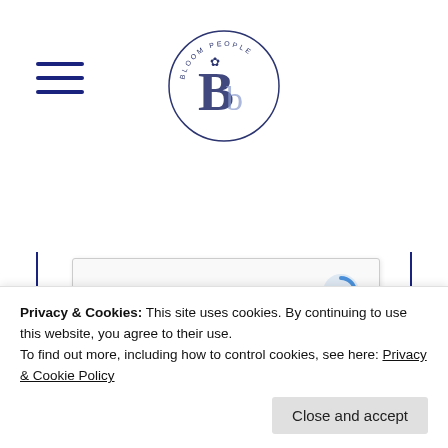[Figure (logo): Bloom People circular logo with stylized B and leaf motif, dark blue/purple color scheme]
[Figure (screenshot): reCAPTCHA widget with checkbox labeled 'I'm not a robot' and Google reCAPTCHA logo on the right]
Privacy & Cookies: This site uses cookies. By continuing to use this website, you agree to their use.
To find out more, including how to control cookies, see here: Privacy & Cookie Policy
Close and accept